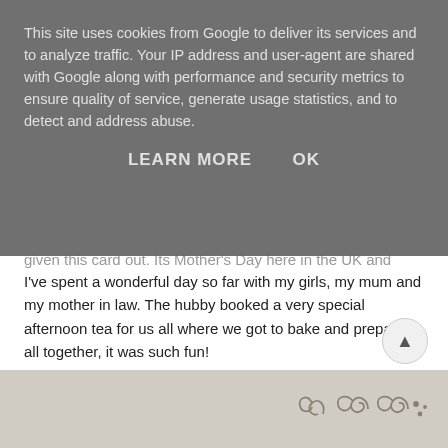This site uses cookies from Google to deliver its services and to analyze traffic. Your IP address and user-agent are shared with Google along with performance and security metrics to ensure quality of service, generate usage statistics, and to detect and address abuse.
LEARN MORE    OK
given this card out. Its Mother's Day here in the UK and I've spent a wonderful day so far with my girls, my mum and my mother in law. The hubby booked a very special afternoon tea for us all where we got to bake and prepare it all together, it was such fun!
I can now share with you the card that I made for the Mothership of all Mothers, my Mum to mark this year's Mother's Day.
[Figure (photo): Bottom strip of a decorative image with light beige/grey background and ornamental scroll/swirl design in darker grey on the right side.]